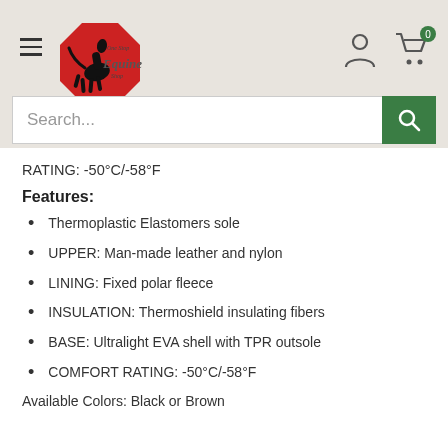[Figure (logo): One Stop Equine Shop logo with rearing horse on red octagon and script text]
RATING: -50°C/-58°F
Features:
Thermoplastic Elastomers sole
UPPER: Man-made leather and nylon
LINING: Fixed polar fleece
INSULATION: Thermoshield insulating fibers
BASE: Ultralight EVA shell with TPR outsole
COMFORT RATING: -50°C/-58°F
Available Colors: Black or Brown